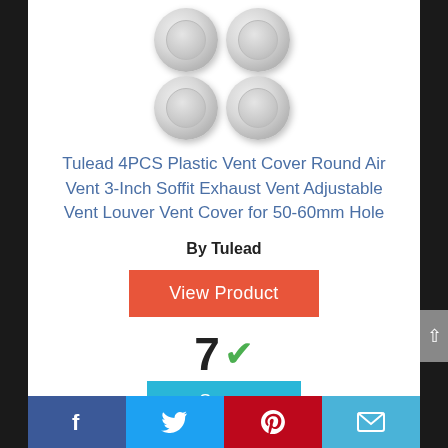[Figure (photo): Four round white/light gray plastic vent caps arranged in a 2x2 grid, each circular with a recessed center ring]
Tulead 4PCS Plastic Vent Cover Round Air Vent 3-Inch Soffit Exhaust Vent Adjustable Vent Louver Vent Cover for 50-60mm Hole
By Tulead
View Product
7 ✓
Score